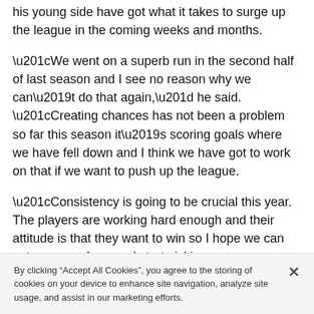his young side have got what it takes to surge up the league in the coming weeks and months.
“We went on a superb run in the second half of last season and I see no reason why we can’t do that again,” he said. “Creating chances has not been a problem so far this season it’s scoring goals where we have fell down and I think we have got to work on that if we want to push up the league.
“Consistency is going to be crucial this year. The players are working hard enough and their attitude is that they want to win so I hope we can get on a good run and start picking up results.”
Midfielder Shawn Richards left the club over the
By clicking “Accept All Cookies”, you agree to the storing of cookies on your device to enhance site navigation, analyze site usage, and assist in our marketing efforts.